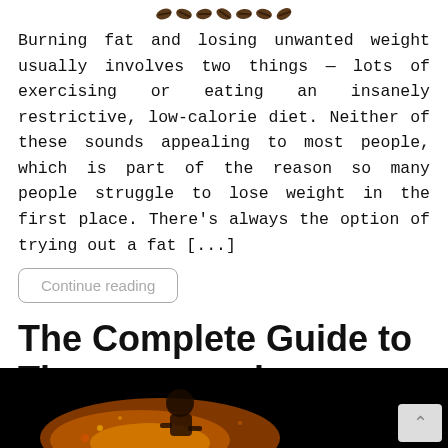[Figure (illustration): Decorative coffee beans image at the top of the page]
Burning fat and losing unwanted weight usually involves two things — lots of exercising or eating an insanely restrictive, low-calorie diet. Neither of these sounds appealing to most people, which is part of the reason so many people struggle to lose weight in the first place. There's always the option of trying out a fat [...]
Continue reading
The Complete Guide to Thermogenesis
[Figure (photo): Dark background image showing a runner/fighter figure surrounded by fire/flames on a black background, with a scroll-up button in the bottom right corner]